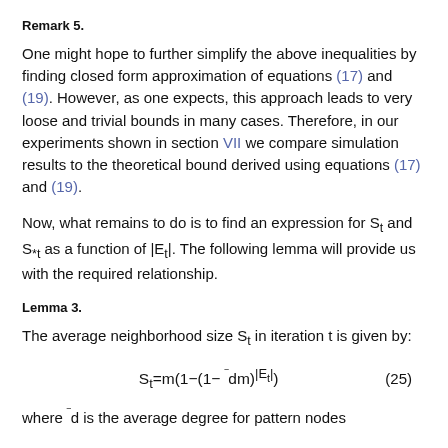Remark 5.
One might hope to further simplify the above inequalities by finding closed form approximation of equations (17) and (19). However, as one expects, this approach leads to very loose and trivial bounds in many cases. Therefore, in our experiments shown in section VII we compare simulation results to the theoretical bound derived using equations (17) and (19).
Now, what remains to do is to find an expression for S_t and S_*t as a function of |E_t|. The following lemma will provide us with the required relationship.
Lemma 3.
The average neighborhood size S_t in iteration t is given by:
where ¯d is the average degree for pattern nodes